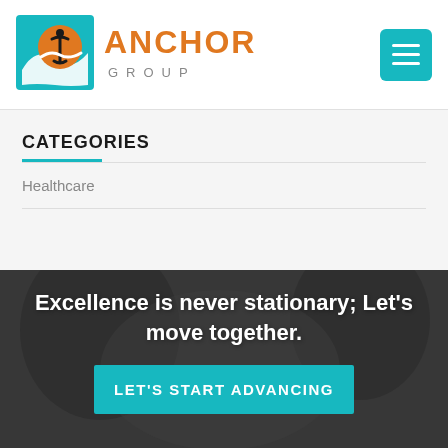[Figure (logo): Anchor Group logo with teal wave/anchor icon and orange ANCHOR text with grey GROUP text below]
CATEGORIES
Healthcare
[Figure (photo): Dark blurred background photo of a person, used as hero section background]
Excellence is never stationary; Let's move together.
LET'S START ADVANCING